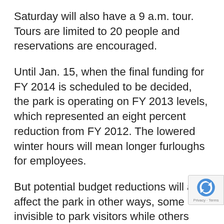Saturday will also have a 9 a.m. tour. Tours are limited to 20 people and reservations are encouraged.
Until Jan. 15, when the final funding for FY 2014 is scheduled to be decided, the park is operating on FY 2013 levels, which represented an eight percent reduction from FY 2012. The lowered winter hours will mean longer furloughs for employees.
But potential budget reductions will also affect the park in other ways, some invisible to park visitors while others could have a major impact.
“Some of the budget reduction will be abosrbed through administrative efficiencies and actions will not be noticeable to the typical park visitor.”